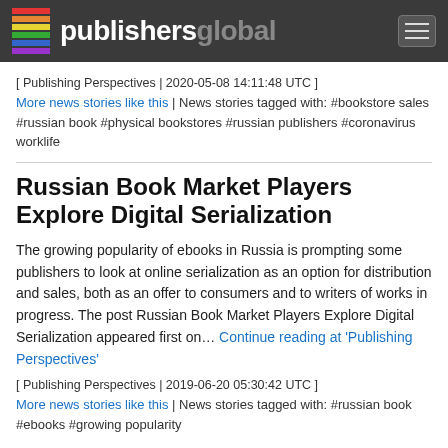publishersglobal
[ Publishing Perspectives | 2020-05-08 14:11:48 UTC ]
More news stories like this | News stories tagged with: #bookstore sales #russian book #physical bookstores #russian publishers #coronavirus worklife
Russian Book Market Players Explore Digital Serialization
The growing popularity of ebooks in Russia is prompting some publishers to look at online serialization as an option for distribution and sales, both as an offer to consumers and to writers of works in progress. The post Russian Book Market Players Explore Digital Serialization appeared first on... Continue reading at 'Publishing Perspectives'
[ Publishing Perspectives | 2019-06-20 05:30:42 UTC ]
More news stories like this | News stories tagged with: #russian book #ebooks #growing popularity